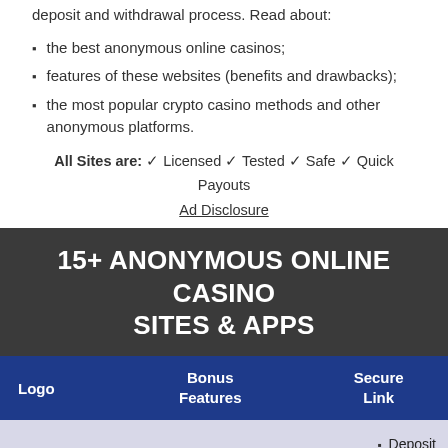deposit and withdrawal process. Read about:
the best anonymous online casinos;
features of these websites (benefits and drawbacks);
the most popular crypto casino methods and other anonymous platforms.
All Sites are: ✓ Licensed ✓ Tested ✓ Safe ✓ Quick Payouts
Ad Disclosure
15+ ANONYMOUS ONLINE CASINO SITES & APPS
| Logo | Bonus Features | Secure Link |  |
| --- | --- | --- | --- |
|  |  |  | Deposit €40
Get 100 FS |